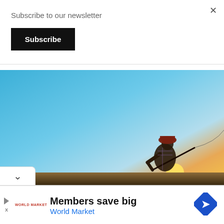Subscribe to our newsletter
Subscribe
[Figure (photo): Person in red hat fishing with bent rod against a blue sky and sunset horizon.]
Members save big
World Market